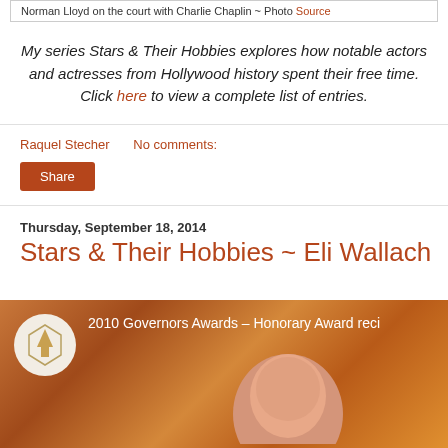Norman Lloyd on the court with Charlie Chaplin ~ Photo Source
My series Stars & Their Hobbies explores how notable actors and actresses from Hollywood history spent their free time. Click here to view a complete list of entries.
Raquel Stecher   No comments:
Share
Thursday, September 18, 2014
Stars & Their Hobbies ~ Eli Wallach
[Figure (photo): Video thumbnail showing 2010 Governors Awards – Honorary Award recipient, with Academy Awards logo and partial view of Eli Wallach's head against an orange geometric background]